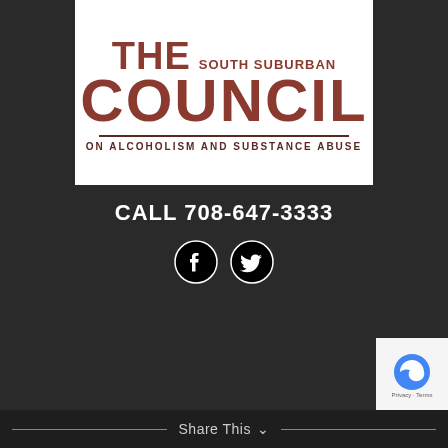[Figure (logo): The South Suburban Council on Alcoholism and Substance Abuse logo. Large red/brown bold text: THE (with smaller text 'SOUTH SUBURBAN' beside it), then large bold 'COUNCIL', then a horizontal rule, then 'ON ALCOHOLISM AND SUBSTANCE ABUSE' in small caps.]
CALL 708-647-3333
[Figure (illustration): Facebook and Twitter social media icons as circular black icon buttons with white symbols inside.]
DONATE
Share This